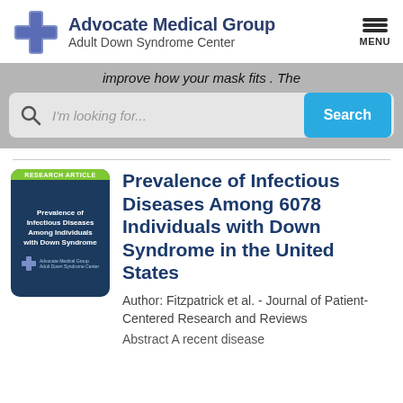Advocate Medical Group Adult Down Syndrome Center
improve how your mask fits . The
I'm looking for...  Search
[Figure (screenshot): Research article thumbnail cover image for 'Prevalence of Infectious Diseases Among Individuals with Down Syndrome' from Advocate Medical Group Adult Down Syndrome Center]
Prevalence of Infectious Diseases Among 6078 Individuals with Down Syndrome in the United States
Author: Fitzpatrick et al. - Journal of Patient-Centered Research and Reviews
Abstract A recent disease